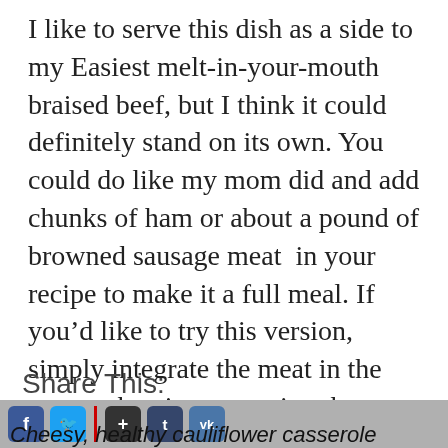I like to serve this dish as a side to my Easiest melt-in-your-mouth braised beef, but I think it could definitely stand on its own. You could do like my mom did and add chunks of ham or about a pound of browned sausage meat  in your recipe to make it a full meal. If you'd like to try this version, simply integrate the meat in the sauce when incorporating the steamed cauliflower florets and follow the rest of the recipe. Please tell me how it turned out!
Share This:
blogieat   ▲ Back to top   Cheesy, healthy cauliflower casserole